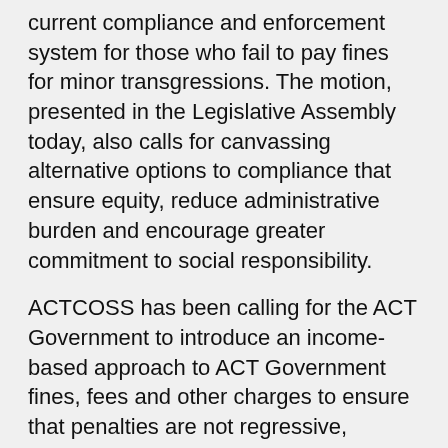current compliance and enforcement system for those who fail to pay fines for minor transgressions. The motion, presented in the Legislative Assembly today, also calls for canvassing alternative options to compliance that ensure equity, reduce administrative burden and encourage greater commitment to social responsibility.
ACTCOSS has been calling for the ACT Government to introduce an income-based approach to ACT Government fines, fees and other charges to ensure that penalties are not regressive, imposing a disproportionate penalty on people living on low incomes and posing a risk of deepening and/or widening social and economic disadvantage.
ACTCOSS CEO, Dr Emma Campbell said: “Flat rate fines impose greater punishment on people with low incomes than high income earners. That means fines disproportionately affect people who already face disadvantage.
“Around 40,000 Canberrans live in low-income households and many of them have told us that they must compromise